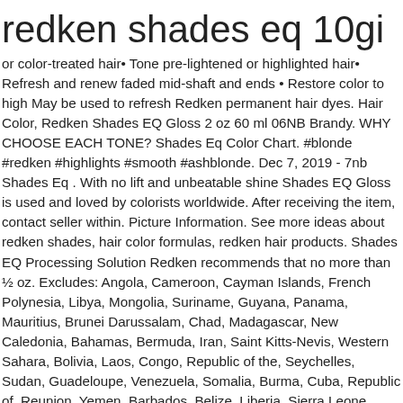redken shades eq 10gi
or color-treated hair• Tone pre-lightened or highlighted hair• Refresh and renew faded mid-shaft and ends • Restore color to high May be used to refresh Redken permanent hair dyes. Hair Color, Redken Shades EQ Gloss 2 oz 60 ml 06NB Brandy. WHY CHOOSE EACH TONE? Shades Eq Color Chart. #blonde #redken #highlights #smooth #ashblonde. Dec 7, 2019 - 7nb Shades Eq . With no lift and unbeatable shine Shades EQ Gloss is used and loved by colorists worldwide. After receiving the item, contact seller within. Picture Information. See more ideas about redken shades, hair color formulas, redken hair products. Shades EQ Processing Solution Redken recommends that no more than ½ oz. Excludes: Angola, Cameroon, Cayman Islands, French Polynesia, Libya, Mongolia, Suriname, Guyana, Panama, Mauritius, Brunei Darussalam, Chad, Madagascar, New Caledonia, Bahamas, Bermuda, Iran, Saint Kitts-Nevis, Western Sahara, Bolivia, Laos, Congo, Republic of the, Seychelles, Sudan, Guadeloupe, Venezuela, Somalia, Burma, Cuba, Republic of, Reunion, Yemen, Barbados, Belize, Liberia, Sierra Leone, Central African Republic, Martinique, Dominica, Niger, French Guiana, Saint Pierre and Miquelon, Saudi Arabia. No additional import charges at delivery! Seller assumes all responsibility for this listing. Hair